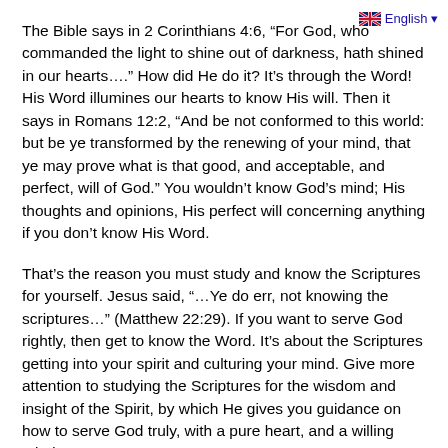English
The Bible says in 2 Corinthians 4:6, “For God, who commanded the light to shine out of darkness, hath shined in our hearts….” How did He do it? It’s through the Word! His Word illumines our hearts to know His will. Then it says in Romans 12:2, “And be not conformed to this world: but be ye transformed by the renewing of your mind, that ye may prove what is that good, and acceptable, and perfect, will of God.” You wouldn’t know God’s mind; His thoughts and opinions, His perfect will concerning anything if you don’t know His Word.
That’s the reason you must study and know the Scriptures for yourself. Jesus said, “…Ye do err, not knowing the scriptures…” (Matthew 22:29). If you want to serve God rightly, then get to know the Word. It’s about the Scriptures getting into your spirit and culturing your mind. Give more attention to studying the Scriptures for the wisdom and insight of the Spirit, by which He gives you guidance on how to serve God truly, with a pure heart, and a willing mind.